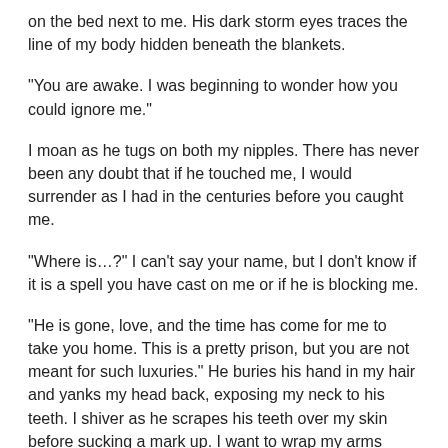on the bed next to me. His dark storm eyes traces the line of my body hidden beneath the blankets.
“You are awake. I was beginning to wonder how you could ignore me.”
I moan as he tugs on both my nipples. There has never been any doubt that if he touched me, I would surrender as I had in the centuries before you caught me.
“Where is…?” I can't say your name, but I don’t know if it is a spell you have cast on me or if he is blocking me.
“He is gone, love, and the time has come for me to take you home. This is a pretty prison, but you are not meant for such luxuries.” He buries his hand in my hair and yanks my head back, exposing my neck to his teeth. I shiver as he scrapes his teeth over my skin before sucking a mark up. I want to wrap my arms around his shoulder and offer myself to him, but I am chained to the bed with words. I can only touch you and give my body to you.
“It is this house,” he comments as he stands, holding me in his arms. “You are meant to ride the storms with me, not sit and waste away like ”